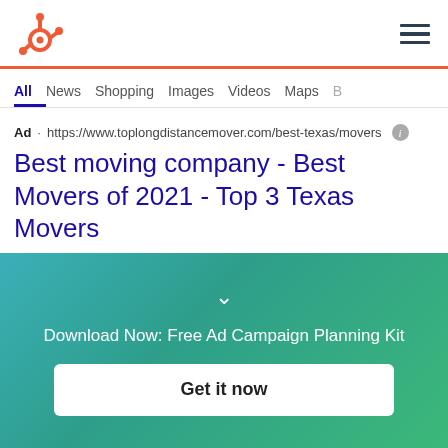[Figure (logo): HubSpot logo (orange sprocket/magnet icon)]
All  News  Shopping  Images  Videos  Maps  B
Ad · https://www.toplongdistancemover.com/best-texas/movers
Best moving company - Best Movers of 2021 - Top 3 Texas Movers
See Which 3 Top Rated Long Distance Moving Companies in Texas Made Our List. Top 3 Long Distance Moving Companies in Texas. No Obligation Quotes.
Download Now: Free Ad Campaign Planning Kit
Get it now